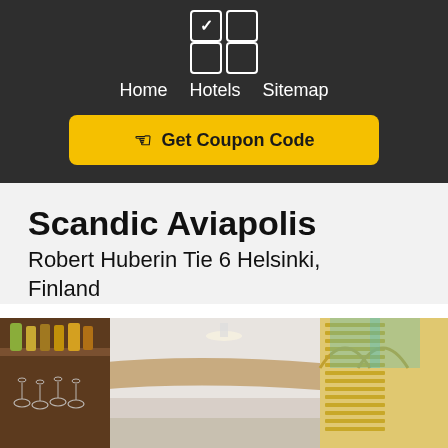[Figure (screenshot): Dark header bar with a 2x2 icon grid (top-left checked, others empty squares), navigation links (Home, Hotels, Sitemap), and a yellow Get Coupon Code button]
Scandic Aviapolis
Robert Huberin Tie 6 Helsinki, Finland
[Figure (photo): Interior photo of a hotel bar/restaurant with wooden shelves holding bottles, hanging wine glasses, a curved ceiling, and decorative windows with wooden blinds]